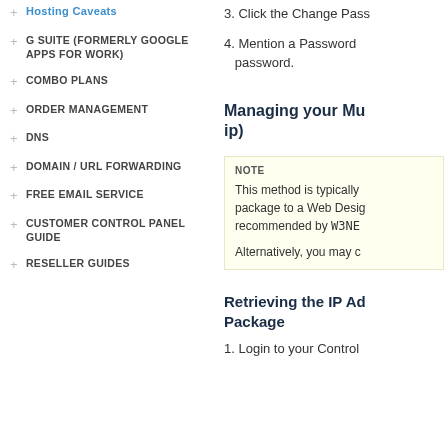+ Hosting Caveats
+ G SUITE (FORMERLY GOOGLE APPS FOR WORK)
+ COMBO PLANS
+ ORDER MANAGEMENT
+ DNS
+ DOMAIN / URL FORWARDING
+ FREE EMAIL SERVICE
+ CUSTOMER CONTROL PANEL GUIDE
+ RESELLER GUIDES
3. Click the Change Pass
4. Mention a Password password.
Managing your Mu ip)
NOTE
This method is typically package to a Web Desig recommended by W3NE
Alternatively, you may c
Retrieving the IP Ad Package
1. Login to your Control